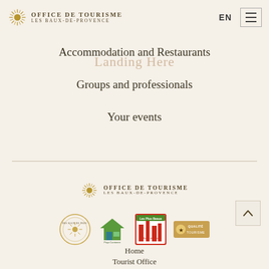Office de Tourisme Les Baux-de-Provence — EN
Prepare your visit (ghost/faded text)
Landing Here (ghost/faded text)
Accommodation and Restaurants
Groups and professionals
Your events
[Figure (logo): Office de Tourisme Les Baux-de-Provence footer logo with sunburst icon]
[Figure (logo): Four partner organization logos: circular sunburst badge, green house logo, red building Les Plus Beaux Villages de France, and gold Qualité Tourisme badge]
[Figure (other): Back to top arrow button]
Home
Tourist Office